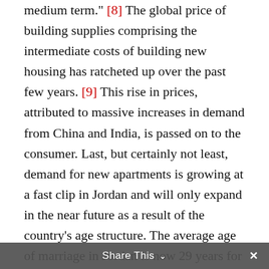medium term." [8] The global price of building supplies comprising the intermediate costs of building new housing has ratcheted up over the past few years. [9] This rise in prices, attributed to massive increases in demand from China and India, is passed on to the consumer. Last, but certainly not least, demand for new apartments is growing at a fast clip in Jordan and will only expand in the near future as a result of the country's age structure. The average age of marriage in Jordan is now 29 years for men and 26 years for women; 68 percent of the population is under the age of 29. [10] Given that supply is limited, this demand pressure only drives prices higher. Between increased demand, lack of supply and
Share This ∨ ✕